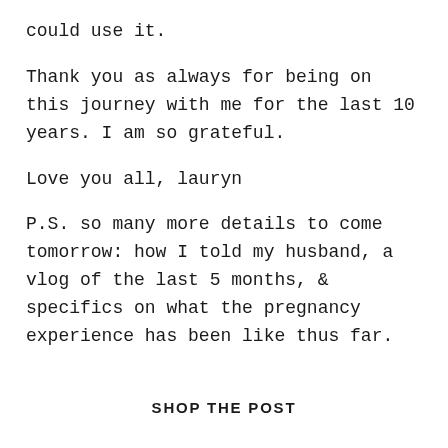could use it.
Thank you as always for being on this journey with me for the last 10 years. I am so grateful.
Love you all, lauryn
P.S. so many more details to come tomorrow: how I told my husband, a vlog of the last 5 months, & specifics on what the pregnancy experience has been like thus far.
SHOP THE POST